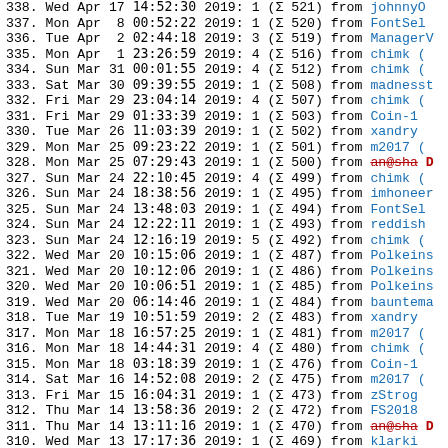338. Wed Apr 17 14:52:30 2019: 1 (Σ 521) from johnnyO
337. Mon Apr  8 00:52:22 2019: 1 (Σ 520) from FontSel
336. Tue Apr  2 02:44:18 2019: 3 (Σ 519) from ManagerV
335. Mon Apr  1 23:26:59 2019: 4 (Σ 516) from chimk
334. Sun Mar 31 00:01:55 2019: 4 (Σ 512) from chimk
333. Sat Mar 30 09:39:55 2019: 1 (Σ 508) from madnesst
332. Fri Mar 29 23:04:14 2019: 4 (Σ 507) from chimk
331. Fri Mar 29 01:33:39 2019: 1 (Σ 503) from Coin-1
330. Tue Mar 26 11:03:39 2019: 1 (Σ 502) from xandry
329. Mon Mar 25 09:23:22 2019: 1 (Σ 501) from m2017
328. Mon Mar 25 07:29:43 2019: 1 (Σ 500) from an@sha [strikethrough]
327. Sun Mar 24 22:10:45 2019: 4 (Σ 499) from chimk
326. Sun Mar 24 18:38:56 2019: 1 (Σ 495) from imhoneer
325. Sun Mar 24 13:48:03 2019: 1 (Σ 494) from FontSel
324. Sun Mar 24 12:22:11 2019: 1 (Σ 493) from reddish
323. Sun Mar 24 12:16:19 2019: 5 (Σ 492) from chimk
322. Wed Mar 20 10:15:06 2019: 1 (Σ 487) from Polkeins
321. Wed Mar 20 10:12:06 2019: 1 (Σ 486) from Polkeins
320. Wed Mar 20 10:06:51 2019: 1 (Σ 485) from Polkeins
319. Wed Mar 20 06:14:46 2019: 1 (Σ 484) from bauntema
318. Tue Mar 19 10:51:59 2019: 2 (Σ 483) from xandry
317. Mon Mar 18 16:57:25 2019: 1 (Σ 481) from m2017
316. Mon Mar 18 14:44:31 2019: 4 (Σ 480) from chimk
315. Mon Mar 18 03:18:39 2019: 1 (Σ 476) from Coin-1
314. Sat Mar 16 14:52:08 2019: 2 (Σ 475) from m2017
313. Fri Mar 15 16:04:31 2019: 1 (Σ 473) from zStrog
312. Thu Mar 14 13:58:36 2019: 2 (Σ 472) from FS2018
311. Thu Mar 14 13:11:16 2019: 1 (Σ 470) from an@sha [strikethrough]
310. Wed Mar 13 17:17:36 2019: 1 (Σ 469) from klarki
309. Wed Mar 13 13:20:33 2019: 1 (Σ 468) from xandry
308. Wed Mar 13 10:03:40 2019: 4 (Σ 467) from xandry